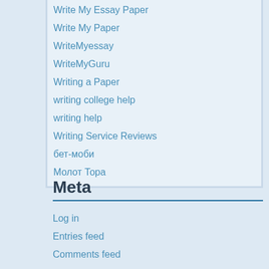Write My Essay Paper
Write My Paper
WriteMyessay
WriteMyGuru
Writing a Paper
writing college help
writing help
Writing Service Reviews
бет-моби
Молот Тора
Meta
Log in
Entries feed
Comments feed